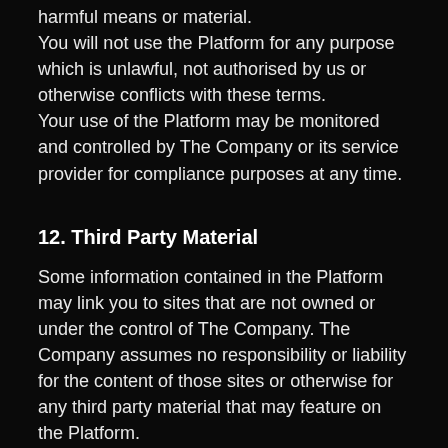compromise the service by employing technologically harmful means or material.
You will not use the Platform for any purpose which is unlawful, not authorised by us or otherwise conflicts with these terms.
Your use of the Platform may be monitored and controlled by The Company or its service provider for compliance purposes at any time.
12. Third Party Material
Some information contained in the Platform may link you to sites that are not owned or under the control of The Company. The Company assumes no responsibility or liability for the content of those sites or otherwise for any third party material that may feature on the Platform.
13. Objectionable Material
We aim to include rating information when available for all Platform Content. You may personally consider some Platform Content to contain offensive, indecent, or